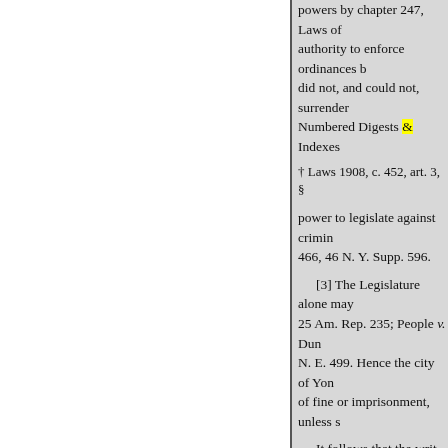powers by chapter 247, Laws of authority to enforce ordinances b did not, and could not, surrender Numbered Digests & Indexes
† Laws 1908, c. 452, art. 3, §
power to legislate against crimin 466, 46 N. Y. Supp. 596.
[3] The Legislature alone may 25 Am. Rep. 235; People v. Dun N. E. 499. Hence the city of Yon of fine or imprisonment, unless s
It follows that the writ should result.
(106 App. Div. 543)
BRUSH v.
The setting aside of a verdict on rendered under proper instructio
[Ed. Note. For other cases, see
Putnam, J., dissenting.